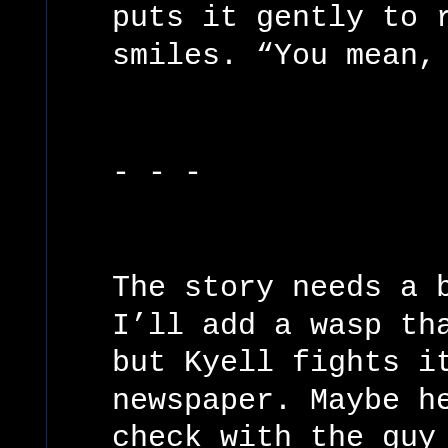puts it gently to re smiles. “You mean,
- - -
The story needs a bi I’ll add a wasp tha but Kyell fights it newspaper. Maybe he check with the guy a batteries if wolves
December 9, 2078. Slow day at the marke I sold only six copie Wine… out of twenty Four copies to the re red panda couple and